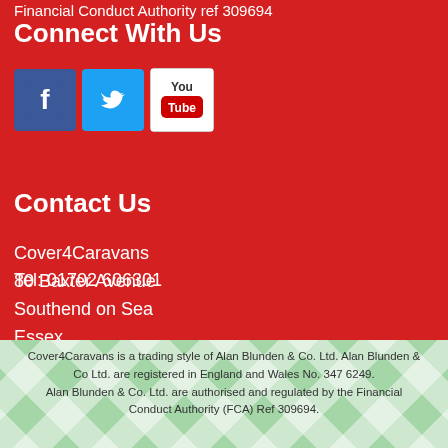Financial Conduct Authority ref 309694
Connect With Us
[Figure (other): Social media icons: Facebook, Twitter, YouTube]
Contact Us
Cover4Caravans
80 Baxter Avenue
Southend on Sea
Essex
SS2 6HZ
Tel: 01702 606301
Cover4Caravans is a trading style of Alan Blunden & Co. Ltd. Alan Blunden & Co Ltd. are registered in England and Wales No. 347 6249. Alan Blunden & Co. Ltd. are authorised and regulated by the Financial Conduct Authority (FCA) Ref 309694.